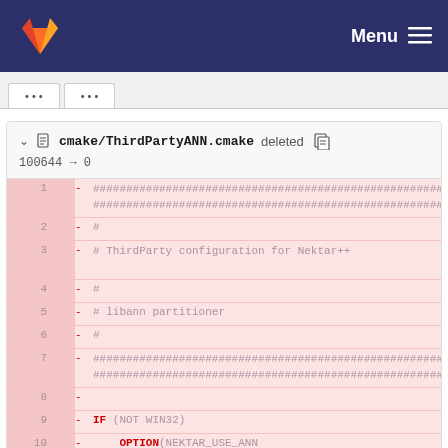Menu
cmake/ThirdPartyANN.cmake deleted
100644 → 0
[Figure (screenshot): Code diff view showing deleted cmake/ThirdPartyANN.cmake file with lines 1-11 shown, including CMake comments about ThirdParty configuration for Nektar++, libann partitioner, and IF (NOT WIN32) / OPTION(NEKTAR_USE_ANN / 'Use ANN routines for performing Approximate Nearest' block]
"Use ANN routines for performing Approximate Nearest